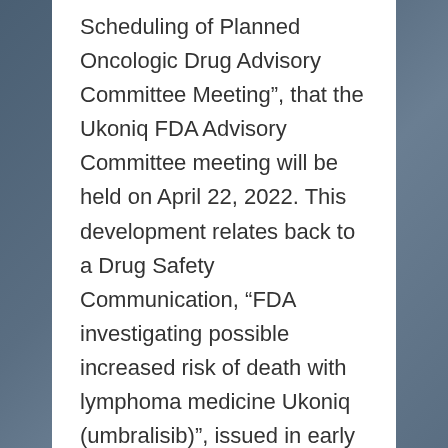Scheduling of Planned Oncologic Drug Advisory Committee Meeting", that the Ukoniq FDA Advisory Committee meeting will be held on April 22, 2022. This development relates back to a Drug Safety Communication, “FDA investigating possible increased risk of death with lymphoma medicine Ukoniq (umbralisib)”, issued in early February 2022. Therein, a so-called “safety signal” for Ukoniq was identified by the FDA. There were news reports back in February that mentioned there would likely be an